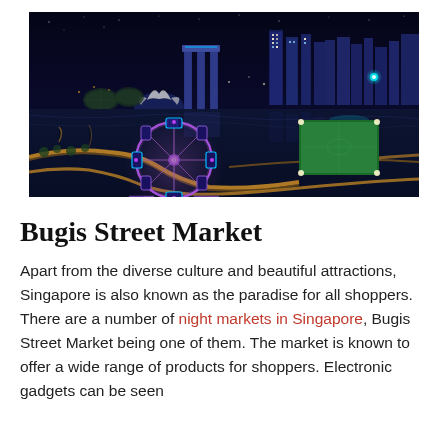[Figure (photo): Aerial night view of Singapore city skyline including Marina Bay Sands, the Singapore Flyer (Ferris wheel with purple/blue neon lights in foreground), waterfront, lit-up roads, skyscrapers, and a green sports field.]
Bugis Street Market
Apart from the diverse culture and beautiful attractions, Singapore is also known as the paradise for all shoppers. There are a number of night markets in Singapore, Bugis Street Market being one of them. The market is known to offer a wide range of products for shoppers. Electronic gadgets can be seen